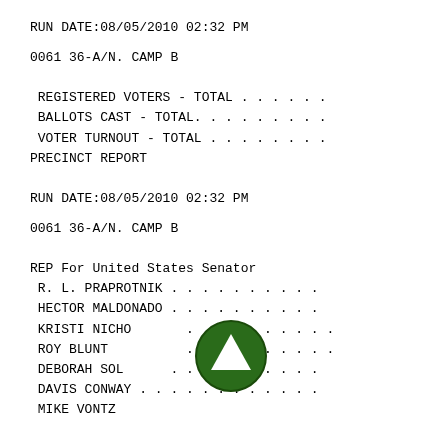RUN DATE:08/05/2010 02:32 PM
0061 36-A/N. CAMP B
REGISTERED VOTERS - TOTAL . . . . . .
BALLOTS CAST - TOTAL. . . . . . . .
VOTER TURNOUT - TOTAL . . . . . . .
PRECINCT REPORT
RUN DATE:08/05/2010 02:32 PM
0061 36-A/N. CAMP B
REP For United States Senator
R. L. PRAPROTNIK . . . . . . . . .
HECTOR MALDONADO . . . . . . . . .
KRISTI NICHO . . . . . . . . .
ROY BLUNT . . . . . . . . .
DEBORAH SOL . . . . . . . . .
DAVIS CONWAY . . . . . . . . .
MIKE VONTZ